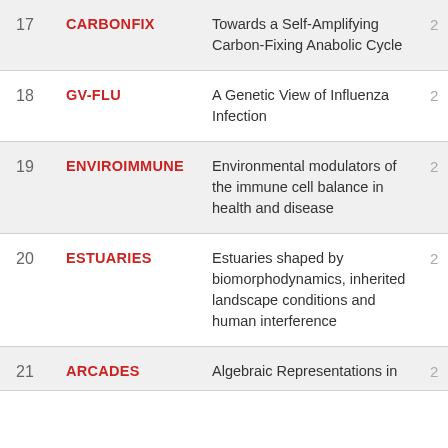| # | Code | Title |  |
| --- | --- | --- | --- |
| 17 | CARBONFIX | Towards a Self-Amplifying Carbon-Fixing Anabolic Cycle | 2 |
| 18 | GV-FLU | A Genetic View of Influenza Infection | 2 |
| 19 | ENVIROIMMUNE | Environmental modulators of the immune cell balance in health and disease | 2 |
| 20 | ESTUARIES | Estuaries shaped by biomorphodynamics, inherited landscape conditions and human interference | 2 |
| 21 | ARCADES | Algebraic Representations in | 2 |